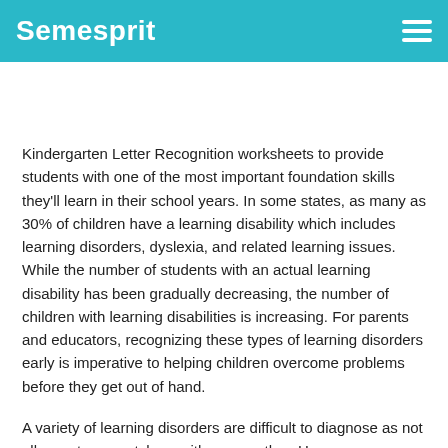Semesprit
Kindergarten Letter Recognition worksheets to provide students with one of the most important foundation skills they'll learn in their school years. In some states, as many as 30% of children have a learning disability which includes learning disorders, dyslexia, and related learning issues. While the number of students with an actual learning disability has been gradually decreasing, the number of children with learning disabilities is increasing. For parents and educators, recognizing these types of learning disorders early is imperative to helping children overcome problems before they get out of hand.
A variety of learning disorders are difficult to diagnose as not all symptoms match up with one another. However, common signs include handwriting and spelling difficulties, and other learning problems which involve reference and comprehension. Children also have problems that they are not totally at ease with...